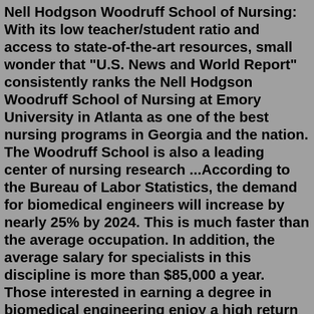Nell Hodgson Woodruff School of Nursing: With its low teacher/student ratio and access to state-of-the-art resources, small wonder that "U.S. News and World Report" consistently ranks the Nell Hodgson Woodruff School of Nursing at Emory University in Atlanta as one of the best nursing programs in Georgia and the nation. The Woodruff School is also a leading center of nursing research ...According to the Bureau of Labor Statistics, the demand for biomedical engineers will increase by nearly 25% by 2024. This is much faster than the average occupation. In addition, the average salary for specialists in this discipline is more than $85,000 a year. Those interested in earning a degree in biomedical engineering enjoy a high return ...Vermillion (first 2 years); Rapid City and Yankton (clinical years) 1907. Sanford University of South Dakota Medical Center [183] 1907 University of South Dakota College of Medicine, 2005 Sanford School of Medicine of the University of South Dakota [4] [184] Tennessee Georgetown has 1 week and 2...